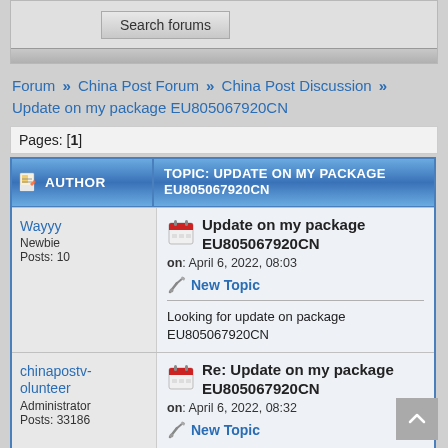[Figure (screenshot): Search forums button in gray search bar at top of forum page]
Forum » China Post Forum » China Post Discussion » Update on my package EU805067920CN
Pages: [1]
| AUTHOR | TOPIC: UPDATE ON MY PACKAGE EU805067920CN |
| --- | --- |
| Wayyy
Newbie
Posts: 10 | Update on my package EU805067920CN
on: April 6, 2022, 08:03
New Topic
Looking for update on package EU805067920CN |
| chinapostvolunteer
Administrator
Posts: 33186 | Re: Update on my package EU805067920CN
on: April 6, 2022, 08:32
New Topic |